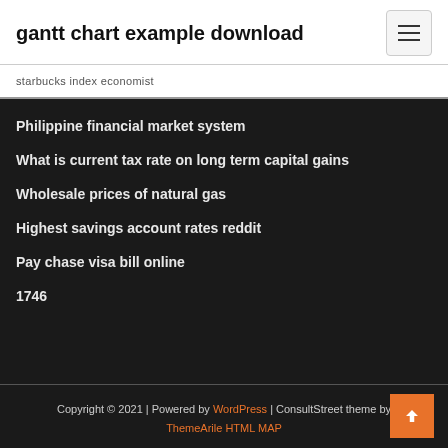gantt chart example download
starbucks index economist
Philippine financial market system
What is current tax rate on long term capital gains
Wholesale prices of natural gas
Highest savings account rates reddit
Pay chase visa bill online
1746
Copyright © 2021 | Powered by WordPress | ConsultStreet theme by ThemeArile HTML MAP